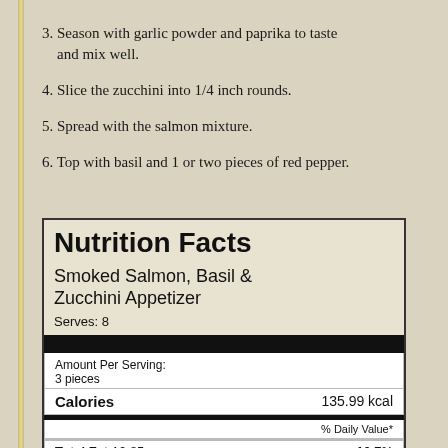3. Season with garlic powder and paprika to taste and mix well.
4. Slice the zucchini into 1/4 inch rounds.
5. Spread with the salmon mixture.
6. Top with basil and 1 or two pieces of red pepper.
| Nutrition Facts | Smoked Salmon, Basil & Zucchini Appetizer | Serves: 8 |
| --- | --- | --- |
| Amount Per Serving: | 3 pieces |  |
| Calories |  | 135.99 kcal |
|  | % Daily Value* |  |
| Total Fat 10.85 g |  | 16.7% |